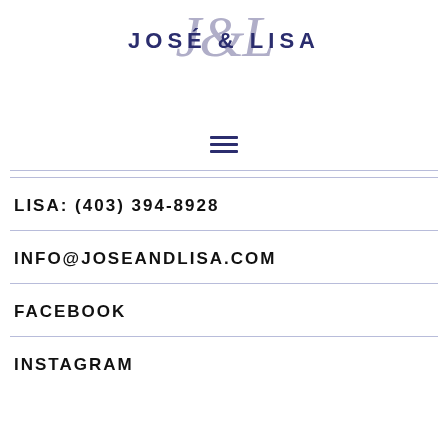[Figure (logo): José & Lisa logo with cursive JL monogram overlaid behind bold sans-serif text JOSÉ & LISA in navy blue]
[Figure (other): Hamburger menu icon with three horizontal navy blue lines]
LISA: (403) 394-8928
INFO@JOSEANDLISA.COM
FACEBOOK
INSTAGRAM